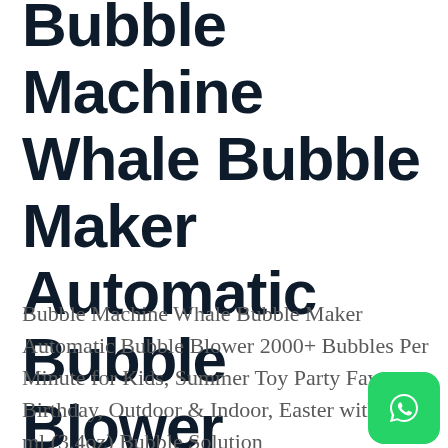Bubble Machine Whale Bubble Maker Automatic Bubble Blower
Bubble Machine Whale Bubble Maker Automatic Bubble Blower 2000+ Bubbles Per Minute for Kids, Summer Toy Party Favor, Birthday, Outdoor & Indoor, Easter with 100 ml (3.4oz) Bubble Solution
[Figure (logo): WhatsApp logo icon — green rounded square with white phone handset inside a speech bubble]